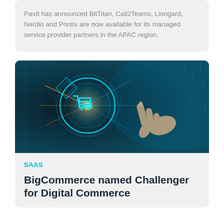Pax8 has announced BitTitan, Call2Teams, Liongard, Nerdio and Printix are now available for its managed service provider partners in the APAC region.
[Figure (photo): A glowing neon shopping cart icon on a dark teal digital background with a hand reaching toward it, representing e-commerce technology.]
SAAS
BigCommerce named Challenger for Digital Commerce Platform